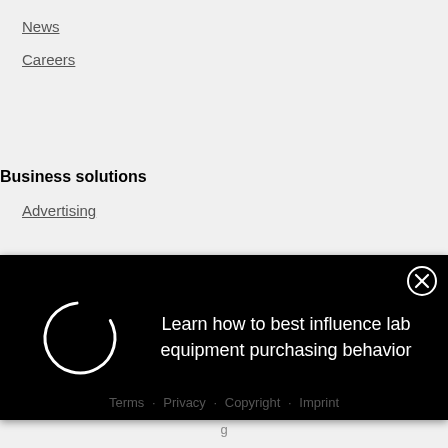News
Careers
Business solutions
Advertising
[Figure (screenshot): Black advertisement banner with a loading spinner circle on the left and text 'Learn how to best influence lab equipment purchasing behavior' on the right, with an X close button in the top-right corner]
Terms · Privacy · Copyright · Imprint